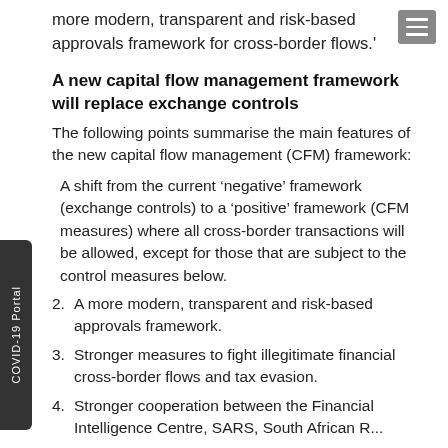more modern, transparent and risk-based approvals framework for cross-border flows.'
A new capital flow management framework will replace exchange controls
The following points summarise the main features of the new capital flow management (CFM) framework:
A shift from the current ‘negative’ framework (exchange controls) to a ‘positive’ framework (CFM measures) where all cross-border transactions will be allowed, except for those that are subject to the control measures below.
2. A more modern, transparent and risk-based approvals framework.
3. Stronger measures to fight illegitimate financial cross-border flows and tax evasion.
4. Stronger cooperation between the Financial Intelligence Centre, SARS, South African R...